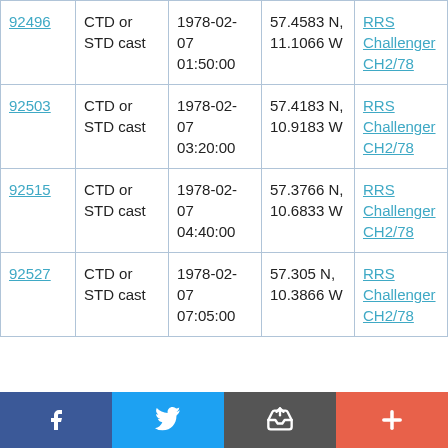| 92496 | CTD or STD cast | 1978-02-07 01:50:00 | 57.4583 N, 11.1066 W | RRS Challenger CH2/78 |
| 92503 | CTD or STD cast | 1978-02-07 03:20:00 | 57.4183 N, 10.9183 W | RRS Challenger CH2/78 |
| 92515 | CTD or STD cast | 1978-02-07 04:40:00 | 57.3766 N, 10.6833 W | RRS Challenger CH2/78 |
| 92527 | CTD or STD cast | 1978-02-07 07:05:00 | 57.305 N, 10.3866 W | RRS Challenger CH2/78 |